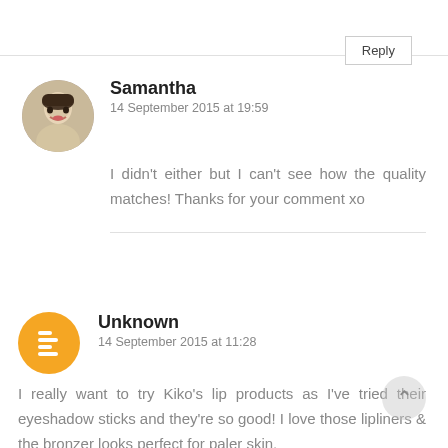Reply
Samantha
14 September 2015 at 19:59
I didn't either but I can't see how the quality matches! Thanks for your comment xo
Unknown
14 September 2015 at 11:28
I really want to try Kiko's lip products as I've tried their eyeshadow sticks and they're so good! I love those lipliners & the bronzer looks perfect for paler skin.
--